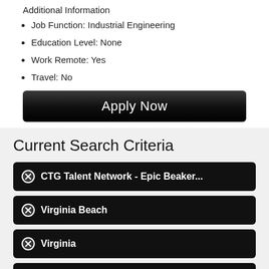Additional Information
Job Function: Industrial Engineering
Education Level: None
Work Remote: Yes
Travel: No
Apply Now
Current Search Criteria
CTG Talent Network - Epic Beaker...
Virginia Beach
Virginia
Clear All